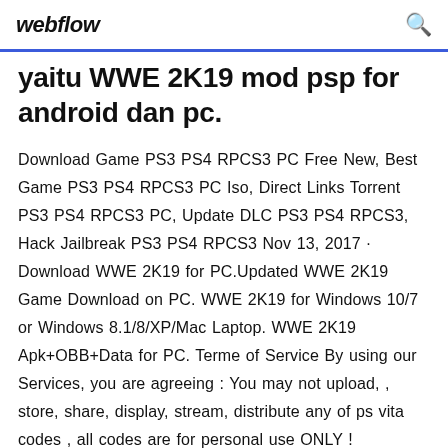webflow
yaitu WWE 2K19 mod psp for android dan pc.
Download Game PS3 PS4 RPCS3 PC Free New, Best Game PS3 PS4 RPCS3 PC Iso, Direct Links Torrent PS3 PS4 RPCS3 PC, Update DLC PS3 PS4 RPCS3, Hack Jailbreak PS3 PS4 RPCS3 Nov 13, 2017 · Download WWE 2K19 for PC.Updated WWE 2K19 Game Download on PC. WWE 2K19 for Windows 10/7 or Windows 8.1/8/XP/Mac Laptop. WWE 2K19 Apk+OBB+Data for PC. Terme of Service By using our Services, you are agreeing : You may not upload, , store, share, display, stream, distribute any of ps vita codes , all codes are for personal use ONLY !